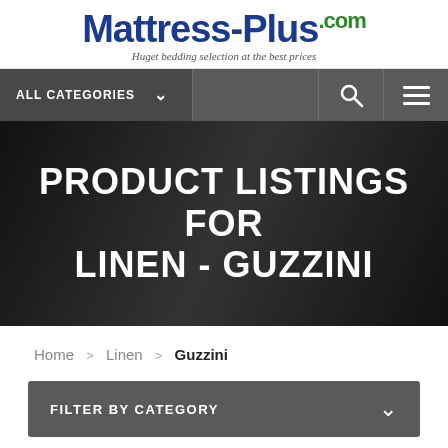Mattress-Plus.com — Huget bedding selection at the best prices
PRODUCT LISTINGS FOR LINEN - GUZZINI
Home > Linen > Guzzini
FILTER BY CATEGORY